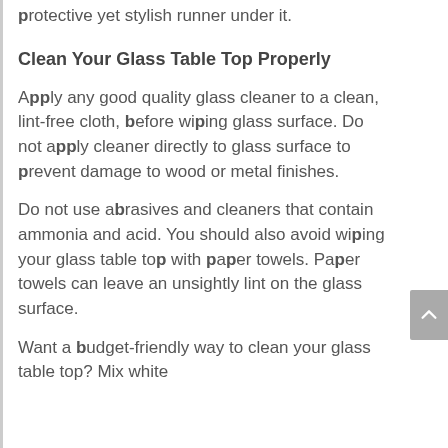protective yet stylish runner under it.
Clean Your Glass Table Top Properly
Apply any good quality glass cleaner to a clean, lint-free cloth, before wiping glass surface. Do not apply cleaner directly to glass surface to prevent damage to wood or metal finishes.
Do not use abrasives and cleaners that contain ammonia and acid. You should also avoid wiping your glass table top with paper towels. Paper towels can leave an unsightly lint on the glass surface.
Want a budget-friendly way to clean your glass table top? Mix white